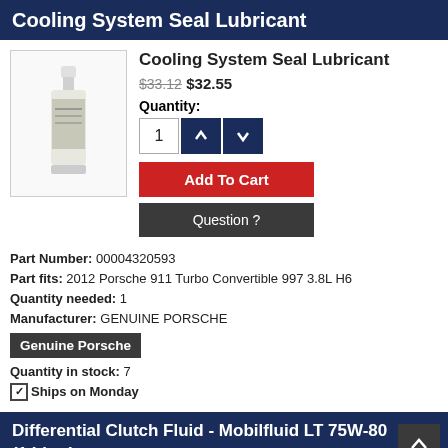Cooling System Seal Lubricant
Cooling System Seal Lubricant
$33.12 $32.55
Quantity:
Add To Cart
Question ?
Part Number: 00004320593
Part fits: 2012 Porsche 911 Turbo Convertible 997 3.8L H6
Quantity needed: 1
Manufacturer: GENUINE PORSCHE
[Figure (logo): Genuine Porsche badge/label]
Quantity in stock: 7
☑ Ships on Monday
Differential Clutch Fluid - Mobilfluid LT 75W-80 (1 Liter)
Differential Clutch Fluid - Mobilfluid LT